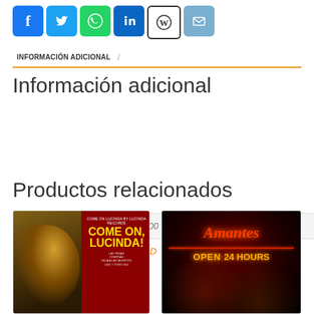[Figure (infographic): Row of social media share icons: Facebook (blue), Twitter (blue), WhatsApp (green), LinkedIn (blue), WordPress (black/white), Email (blue-grey)]
INFORMACIÓN ADICIONAL /
Información adicional
| Peso | 100 g |
| Formato | CD |
Productos relacionados
[Figure (photo): Album cover: Come On, Lucinda! — woman with blonde hair on left, red text on right]
[Figure (photo): Album cover: Amantes — neon sign reading Amantes OPEN 24 HOURS in red/orange against dark background]